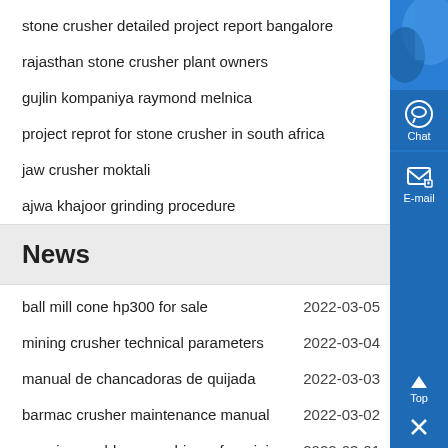stone crusher detailed project report bangalore
rajasthan stone crusher plant owners
gujlin kompaniya raymond melnica
project reprot for stone crusher in south africa
jaw crusher moktali
ajwa khajoor grinding procedure
News
ball mill cone hp300 for sale  2022-03-05
mining crusher technical parameters  2022-03-04
manual de chancadoras de quijada  2022-03-03
barmac crusher maintenance manual  2022-03-02
american gold ore machinery for mining  2022-03-01